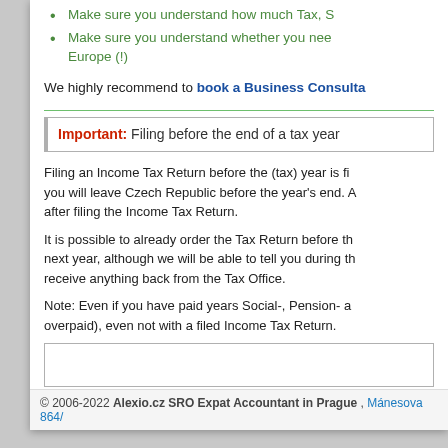Make sure you understand how much Tax, S
Make sure you understand whether you need to be registered for VAT in Europe (!)
We highly recommend to book a Business Consulta
Important: Filing before the end of a tax year
Filing an Income Tax Return before the (tax) year is fi you will leave Czech Republic before the year's end. A after filing the Income Tax Return.
It is possible to already order the Tax Return before th next year, although we will be able to tell you during th receive anything back from the Tax Office.
Note: Even if you have paid years Social-, Pension- a overpaid), even not with a filed Income Tax Return.
© 2006-2022 Alexio.cz SRO Expat Accountant in Prague , Mánesova 864/